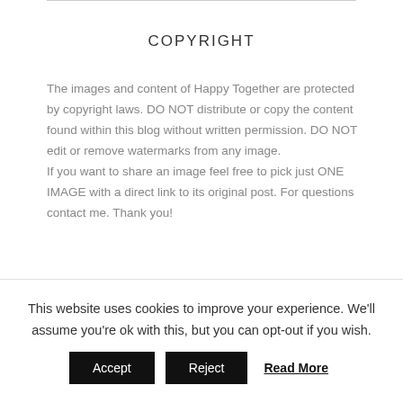COPYRIGHT
The images and content of Happy Together are protected by copyright laws. DO NOT distribute or copy the content found within this blog without written permission. DO NOT edit or remove watermarks from any image.
If you want to share an image feel free to pick just ONE IMAGE with a direct link to its original post. For questions contact me. Thank you!
[Figure (logo): Creative Commons BY NC ND license badge]
This website uses cookies to improve your experience. We'll assume you're ok with this, but you can opt-out if you wish.
Accept   Reject   Read More